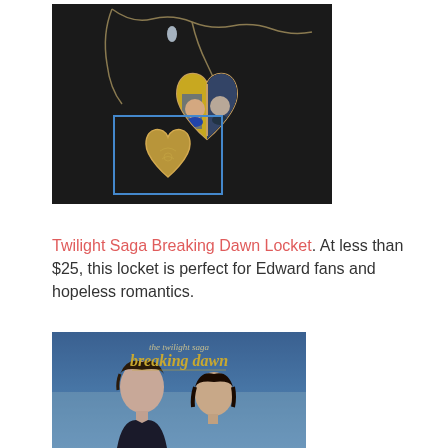[Figure (photo): Photo of a Twilight Saga Breaking Dawn heart-shaped locket necklace on a dark background. Shows an open heart locket with photos of Edward and Bella inside, on a gold chain with a blue bead. A smaller inset image shows the closed golden heart locket.]
Twilight Saga Breaking Dawn Locket. At less than $25, this locket is perfect for Edward fans and hopeless romantics.
[Figure (photo): Photo of the Twilight Saga Breaking Dawn movie poster/DVD cover showing the text 'the twilight saga breaking dawn' with two characters visible from the shoulders up.]